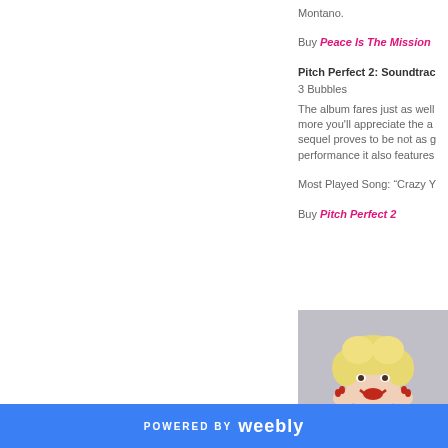Montano.
Buy Peace Is The Mission
Pitch Perfect 2: Soundtrac
3 Bubbles
The album fares just as well more you'll appreciate the a sequel proves to be not as g performance it also features
Most Played Song: “Crazy Y
Buy Pitch Perfect 2
[Figure (photo): Woman with blonde hair and red lipstick, wearing red, hands on face, smiling]
POWERED BY weebly